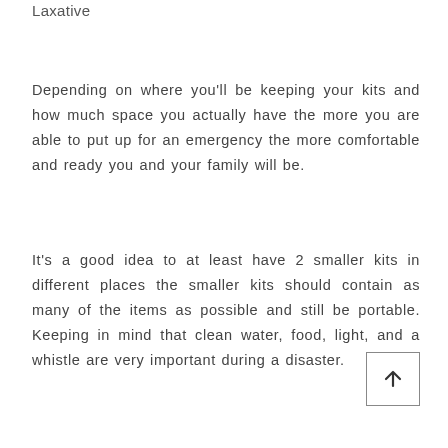Laxative
Depending on where you'll be keeping your kits and how much space you actually have the more you are able to put up for an emergency the more comfortable and ready you and your family will be.
It's a good idea to at least have 2 smaller kits in different places the smaller kits should contain as many of the items as possible and still be portable. Keeping in mind that clean water, food, light, and a whistle are very important during a disaster.